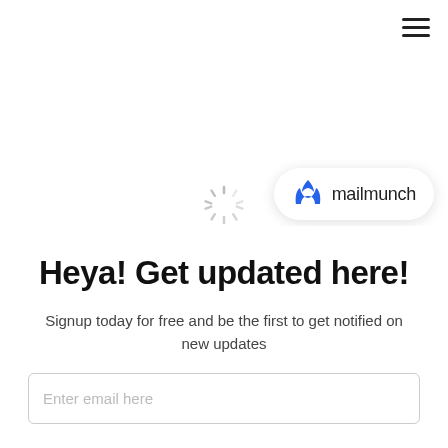[Figure (other): Hamburger menu icon (three horizontal lines) in top right corner]
[Figure (other): Loading spinner icon (circular dashed lines) in center-left area]
[Figure (logo): Mailmunch badge with blue flame logo and 'mailmunch' text in a white pill-shaped card]
[Figure (other): Close (X) button in gray]
Heya! Get updated here!
Signup today for free and be the first to get notified on new updates
Enter email here